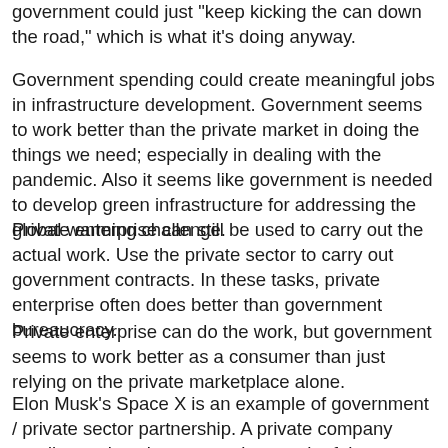government could just 'keep kicking the can down the road,' which is what it's doing anyway.
Government spending could create meaningful jobs in infrastructure development. Government seems to work better than the private market in doing the things we need; especially in dealing with the pandemic. Also it seems like government is needed to develop green infrastructure for addressing the global warming challenge.
Private enterprise can still be used to carry out the actual work. Use the private sector to carry out government contracts. In these tasks, private enterprise often does better than government bureaucracy.
Private enterprise can do the work, but government seems to work better as a consumer than just relying on the private marketplace alone.
Elon Musk's Space X is an example of government / private sector partnership. A private company sending rockets into space, but much of the revenue still comes from NASA; a